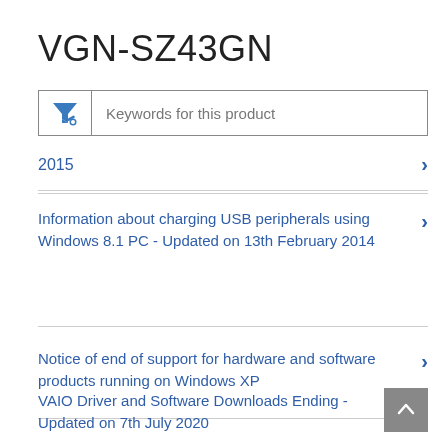VGN-SZ43GN
Keywords for this product
2015
Information about charging USB peripherals using Windows 8.1 PC - Updated on 13th February 2014
Notice of end of support for hardware and software products running on Windows XP
VAIO Driver and Software Downloads Ending - Updated on 7th July 2020